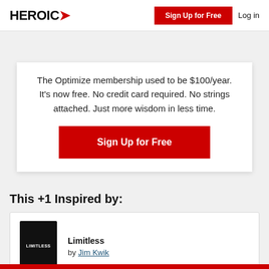HEROIC | Sign Up for Free | Log in
The Optimize membership used to be $100/year. It's now free. No credit card required. No strings attached. Just more wisdom in less time.
Sign Up for Free
This +1 Inspired by:
[Figure (other): Book cover of Limitless with dark background and white text]
Limitless by Jim Kwik